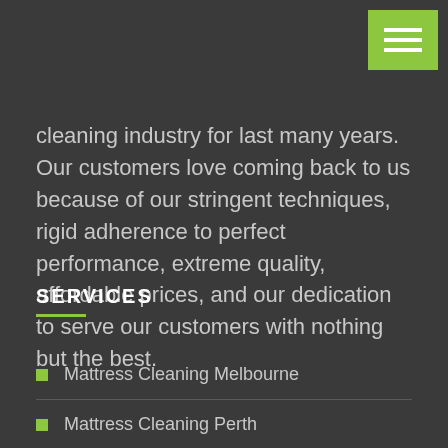[Figure (other): Green hamburger menu button with three white horizontal lines in top-right corner]
cleaning industry for last many years. Our customers love coming back to us because of our stringent techniques, rigid adherence to perfect performance, extreme quality, affordable prices, and our dedication to serve our customers with nothing but the best.
SERVICES
Mattress Cleaning Melbourne
Mattress Cleaning Perth
Mattress Cleaning Adelaide
Mattress Cleaning Canberra